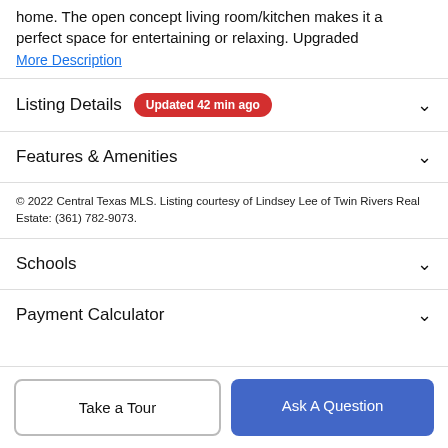home. The open concept living room/kitchen makes it a perfect space for entertaining or relaxing. Upgraded
More Description
Listing Details  Updated 42 min ago
Features & Amenities
© 2022 Central Texas MLS. Listing courtesy of Lindsey Lee of Twin Rivers Real Estate: (361) 782-9073.
Schools
Payment Calculator
Take a Tour
Ask A Question